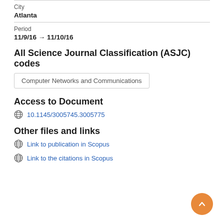City
Atlanta
Period
11/9/16 → 11/10/16
All Science Journal Classification (ASJC) codes
Computer Networks and Communications
Access to Document
10.1145/3005745.3005775
Other files and links
Link to publication in Scopus
Link to the citations in Scopus